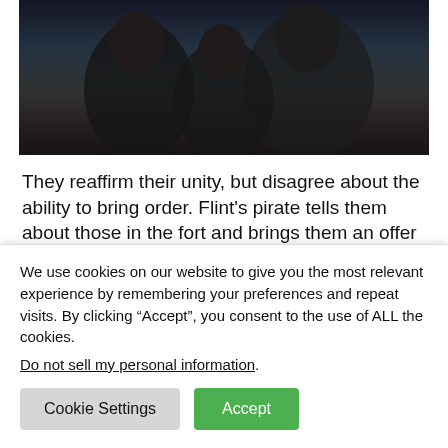[Figure (photo): Dark-toned screenshot or photo showing figures in dark clothing, scene from a TV show or film]
They reaffirm their unity, but disagree about the ability to bring order. Flint's pirate tells them about those in the fort and brings them an offer from Eleanor; 20 of the pirates captured in the failed invasion from sea in exchange for Max. Only problem is they don't have Max.
Silver also demands that Billy Bones serve him...
We use cookies on our website to give you the most relevant experience by remembering your preferences and repeat visits. By clicking “Accept”, you consent to the use of ALL the cookies.
Do not sell my personal information.